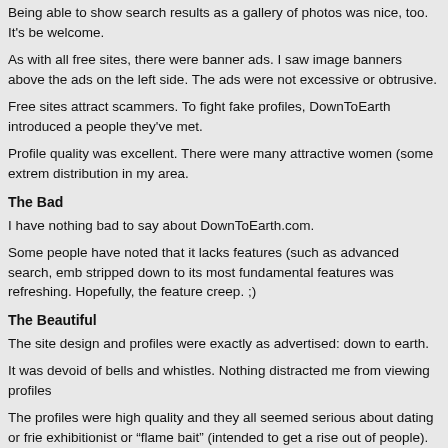Being able to show search results as a gallery of photos was nice, too. It's be welcome.
As with all free sites, there were banner ads. I saw image banners above the ads on the left side. The ads were not excessive or obtrusive.
Free sites attract scammers. To fight fake profiles, DownToEarth introduced a people they've met.
Profile quality was excellent. There were many attractive women (some extrem distribution in my area.
The Bad
I have nothing bad to say about DownToEarth.com.
Some people have noted that it lacks features (such as advanced search, emb stripped down to its most fundamental features was refreshing. Hopefully, the feature creep. ;)
The Beautiful
The site design and profiles were exactly as advertised: down to earth.
It was devoid of bells and whistles. Nothing distracted me from viewing profiles
The profiles were high quality and they all seemed serious about dating or frie exhibitionist or “flame bait” (intended to get a rise out of people). Most seemed about finding someone special.
DownToEarth was a great name for this site. It fit the design (and the people th up with the name is a genius.
Worth Visiting?
YES!